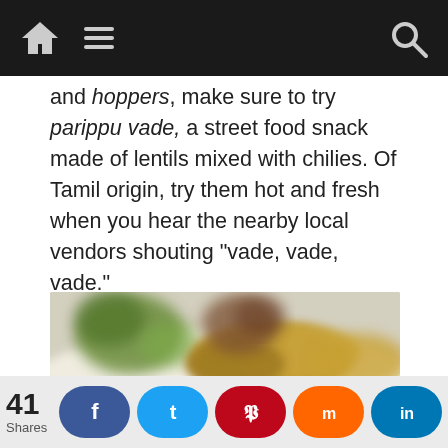Navigation bar with home, menu, and search icons
and hoppers, make sure to try parippu vade, a street food snack made of lentils mixed with chilies. Of Tamil origin, try them hot and fresh when you hear the nearby local vendors shouting “vade, vade, vade.”
[Figure (photo): Blurred photograph of parippu vade (lentil fritters) served on a white plate with green garnish]
41 Shares | Social share buttons: Facebook, Twitter, Pinterest, Mix, LinkedIn